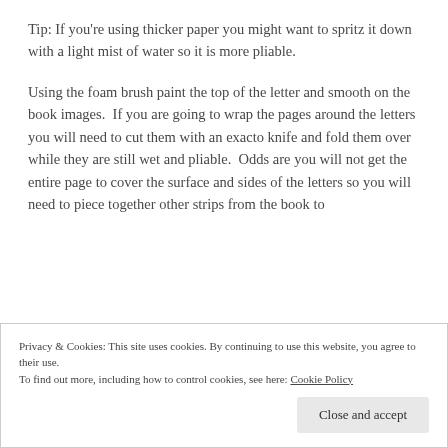Tip: If you're using thicker paper you might want to spritz it down with a light mist of water so it is more pliable.
Using the foam brush paint the top of the letter and smooth on the book images.  If you are going to wrap the pages around the letters you will need to cut them with an exacto knife and fold them over while they are still wet and pliable.  Odds are you will not get the entire page to cover the surface and sides of the letters so you will need to piece together other strips from the book to
Privacy & Cookies: This site uses cookies. By continuing to use this website, you agree to their use.
To find out more, including how to control cookies, see here: Cookie Policy